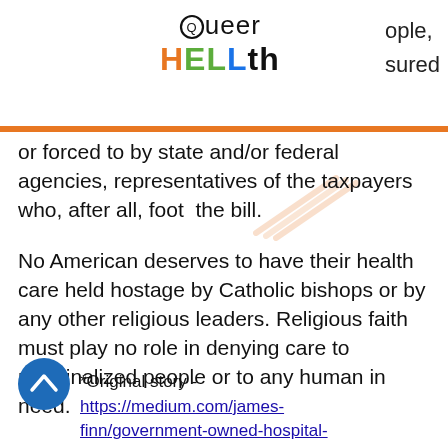Queer HELLth
or forced to by state and/or federal agencies, representatives of the taxpayers who, after all, foot the bill.
No American deserves to have their health care held hostage by Catholic bishops or by any other religious leaders. Religious faith must play no role in denying care to marginalized people or to any human in need.
[Figure (illustration): Blue circular back/up button with chevron arrow]
*Original story - https://medium.com/james-finn/government-owned-hospital-refuses-to-treat-transgender-man-